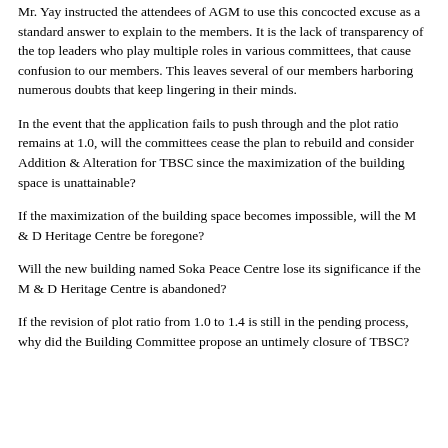Mr. Yay instructed the attendees of AGM to use this concocted excuse as a standard answer to explain to the members. It is the lack of transparency of the top leaders who play multiple roles in various committees, that cause confusion to our members. This leaves several of our members harboring numerous doubts that keep lingering in their minds.
In the event that the application fails to push through and the plot ratio remains at 1.0, will the committees cease the plan to rebuild and consider Addition & Alteration for TBSC since the maximization of the building space is unattainable?
If the maximization of the building space becomes impossible, will the M & D Heritage Centre be foregone?
Will the new building named Soka Peace Centre lose its significance if the M & D Heritage Centre is abandoned?
If the revision of plot ratio from 1.0 to 1.4 is still in the pending process, why did the Building Committee propose an untimely closure of TBSC?